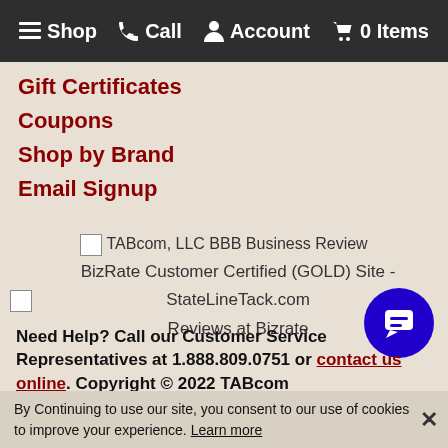≡ Shop  ☎ Call  👤 Account  🛒 0 Items
Gift Certificates
Coupons
Shop by Brand
Email Signup
[Figure (logo): TABcom, LLC BBB Business Review badge placeholder]
[Figure (logo): BizRate Customer Certified (GOLD) Site - StateLineTack.com Reviews at Bizrate badge placeholder]
Need Help? Call our Customer Service Representatives at 1.888.809.0751 or contact us online. Copyright © 2022 TABcom
By Continuing to use our site, you consent to our use of cookies to improve your experience. Learn more